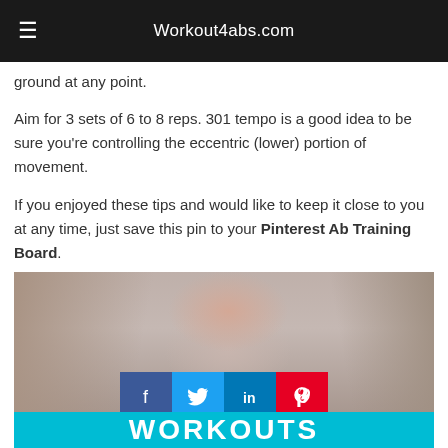Workout4abs.com
ground at any point.
Aim for 3 sets of 6 to 8 reps. 301 tempo is a good idea to be sure you're controlling the eccentric (lower) portion of movement.
If you enjoyed these tips and would like to keep it close to you at any time, just save this pin to your Pinterest Ab Training Board.
[Figure (photo): Photo of a woman with social media share buttons (Facebook, Twitter, LinkedIn, Pinterest) overlaid on the image, and a teal banner at the bottom with the text WORKOUTS in white bold letters.]